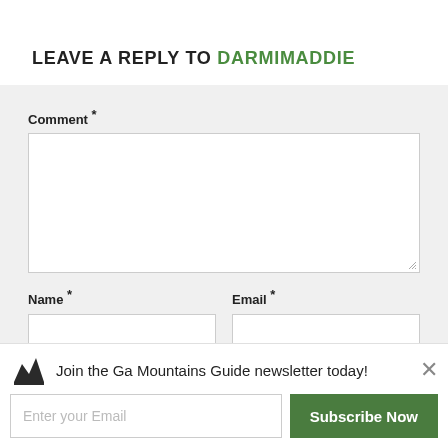LEAVE A REPLY TO DARMIMADDIE
Comment *
Name *
Email *
Website
Join the Ga Mountains Guide newsletter today!
Enter your Email
Subscribe Now